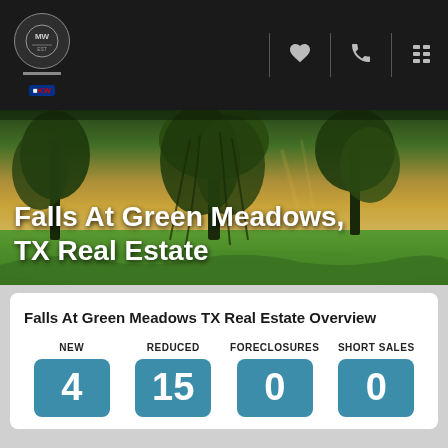MW logo | heart icon | phone icon | grid icon
[Figure (photo): Outdoor nature photo with green willow-like trees and warm sunset sky background]
Falls At Green Meadows, TX Real Estate
Falls At Green Meadows TX Real Estate Overview
NEW: 4, REDUCED: 15, FORECLOSURES: 0, SHORT SALES: 0